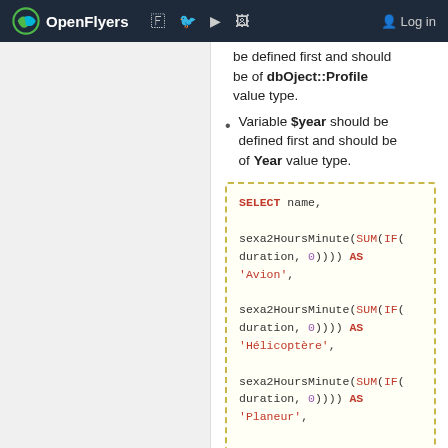OpenFlyers | Log in
be defined first and should be of dbOject::Profile value type.
Variable $year should be defined first and should be of Year value type.